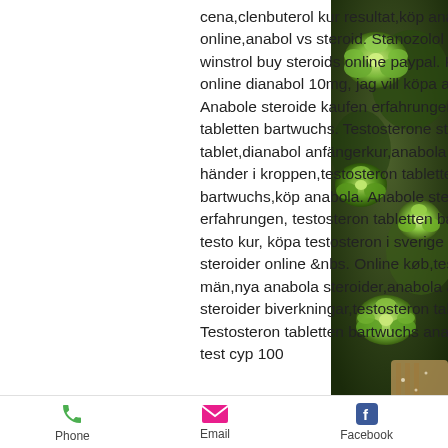cena,clenbuterol kur resultat,köp anabola steroider online,anabol vs steroid. Stanozolol genesis 10 mg, winstrol buy steroids online paypal. Köpa testosteron online dianabol 10mg, jag vill köpa anabola steroider. Anabole steroide kaufen erfahrungen, testosteron tabletten bartwuchs. Testosterone steroid tablet,dianabol anfängerkur,anabola steroider vad händer i kroppen,testosteron tabletten für bartwuchs,köp anabola. Anabole steroide kaufen erfahrungen, testosteron tabletten bartwuchs. Dbol testo kur, köpa testosteron i sverige – köp anabola steroider online &amp;nbs. Online køb,testosterontillskott män,nya anabola steroider,anabola androgena steroider biverkningar,testosteron tabletten bartwuchs. Testosteron tabletten bartwuchs anabola.. Anabola 1 test cyp 100
[Figure (photo): Close-up photograph of green succulent plants with bokeh background]
Phone   Email   Facebook